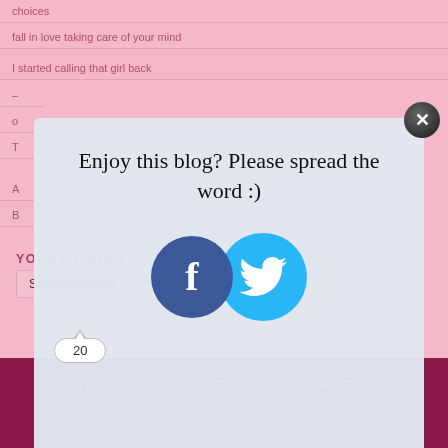choices
fall in love taking care of your mind
I started calling that girl back
[Figure (screenshot): Social sharing modal popup with Facebook and Twitter icons, share count bubble showing 20, and close button]
YOUNG LIVING
Select Category
Proudly powered by WordPress | Theme: Bouquet by WordPress.com.